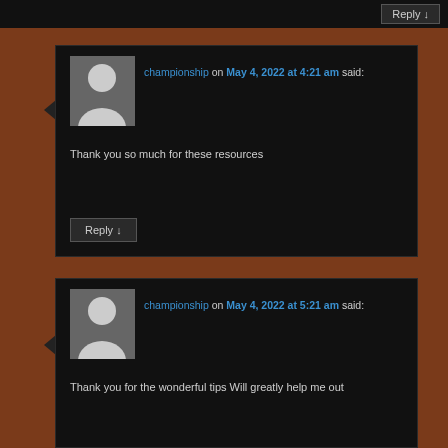Reply ↓
[Figure (illustration): Default avatar silhouette - grey background with white person icon]
championship on May 4, 2022 at 4:21 am said:
Thank you so much for these resources
Reply ↓
[Figure (illustration): Default avatar silhouette - grey background with white person icon]
championship on May 4, 2022 at 5:21 am said:
Thank you for the wonderful tips Will greatly help me out